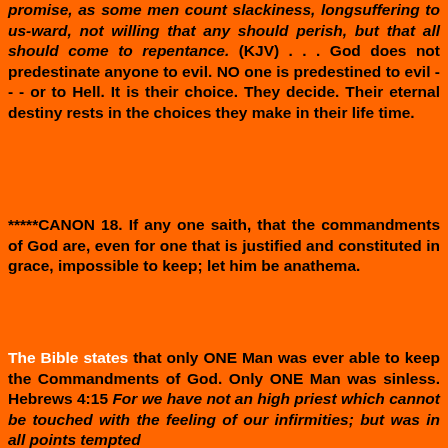promise, as some men count slackiness, longsuffering to us-ward, not willing that any should perish, but that all should come to repentance. (KJV) . . . God does not predestinate anyone to evil. NO one is predestined to evil - - - or to Hell. It is their choice. They decide. Their eternal destiny rests in the choices they make in their life time.
*****CANON 18. If any one saith, that the commandments of God are, even for one that is justified and constituted in grace, impossible to keep; let him be anathema.
The Bible states that only ONE Man was ever able to keep the Commandments of God. Only ONE Man was sinless. Hebrews 4:15 For we have not an high priest which cannot be touched with the feeling of our infirmities; but was in all points tempted like as we are, (KJV)